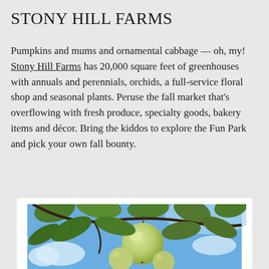STONY HILL FARMS
Pumpkins and mums and ornamental cabbage — oh, my! Stony Hill Farms has 20,000 square feet of greenhouses with annuals and perennials, orchids, a full-service floral shop and seasonal plants. Peruse the fall market that's overflowing with fresh produce, specialty goods, bakery items and décor. Bring the kiddos to explore the Fun Park and pick your own fall bounty.
[Figure (photo): Close-up photograph of green apples growing on a tree branch with green leaves, shot from below against a blue sky with white clouds.]